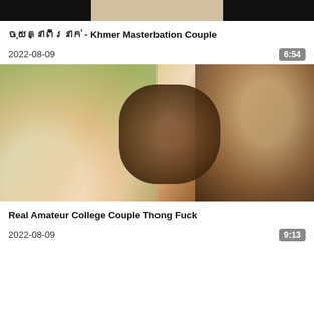[Figure (photo): Top strip showing video thumbnails in black and skin tones]
ចុយគ្នាពីរនាក់ - Khmer Masterbation Couple
2022-08-09
6:54
[Figure (photo): Close-up photo showing person wearing green lace lingerie]
Real Amateur College Couple Thong Fuck
2022-08-09
9:13